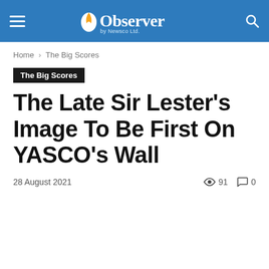Observer by Newsco Ltd.
Home › The Big Scores
The Big Scores
The Late Sir Lester's Image To Be First On YASCO's Wall
28 August 2021   👁 91   💬 0